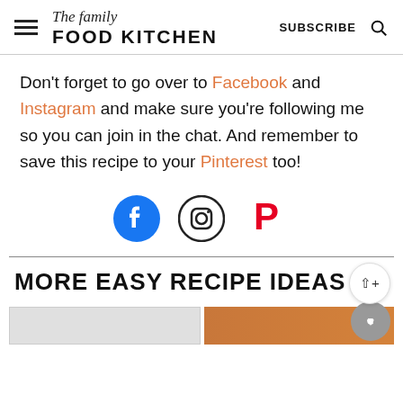The family FOOD KITCHEN | SUBSCRIBE
Don't forget to go over to Facebook and Instagram and make sure you're following me so you can join in the chat. And remember to save this recipe to your Pinterest too!
[Figure (infographic): Social media icons: Facebook (blue circle with f), Instagram (outline circle with camera), Pinterest (red P)]
MORE EASY RECIPE IDEAS
[Figure (photo): Partial images of two recipe photos at the bottom of the page]